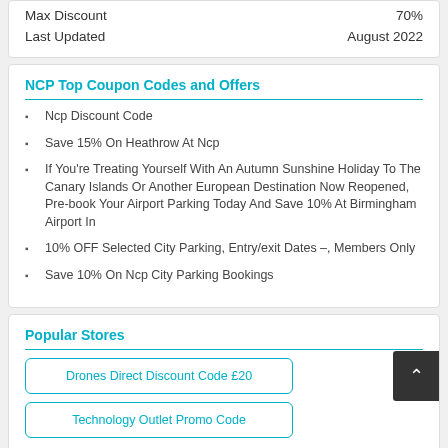| Max Discount | 70% |
| Last Updated | August 2022 |
NCP Top Coupon Codes and Offers
Ncp Discount Code
Save 15% On Heathrow At Ncp
If You're Treating Yourself With An Autumn Sunshine Holiday To The Canary Islands Or Another European Destination Now Reopened, Pre-book Your Airport Parking Today And Save 10% At Birmingham Airport In
10% OFF Selected City Parking, Entry/exit Dates –, Members Only
Save 10% On Ncp City Parking Bookings
Popular Stores
Drones Direct Discount Code £20
Technology Outlet Promo Code